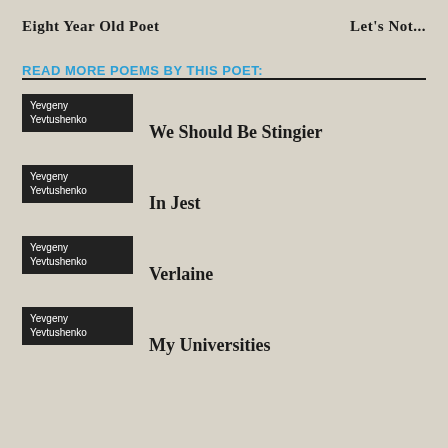Eight Year Old Poet    Let's Not...
READ MORE POEMS BY THIS POET:
Yevgeny Yevtushenko — We Should Be Stingier
Yevgeny Yevtushenko — In Jest
Yevgeny Yevtushenko — Verlaine
Yevgeny Yevtushenko — My Universities